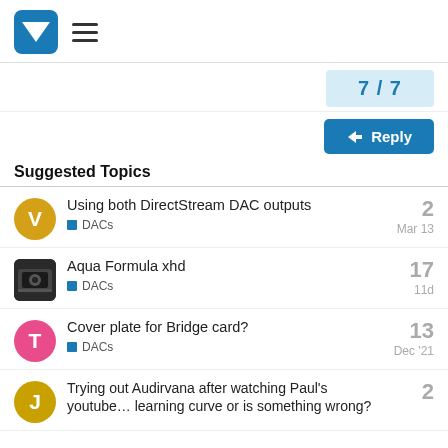Vivid logo and hamburger menu
7 / 7
Reply
Suggested Topics
Using both DirectStream DAC outputs | DACs | Mar 13 | 2 replies
Aqua Formula xhd | DACs | 11d | 17 replies
Cover plate for Bridge card? | DACs | Dec '21 | 13 replies
Trying out Audirvana after watching Paul's youtube… learning curve or is something wrong? | 2 replies